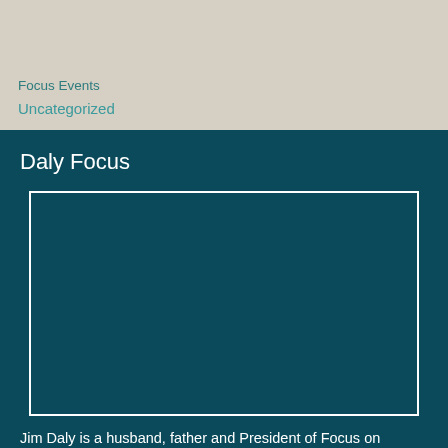Focus Events
Uncategorized
Daly Focus
[Figure (photo): Empty image placeholder with white border on dark teal background]
Jim Daly is a husband, father and President of Focus on